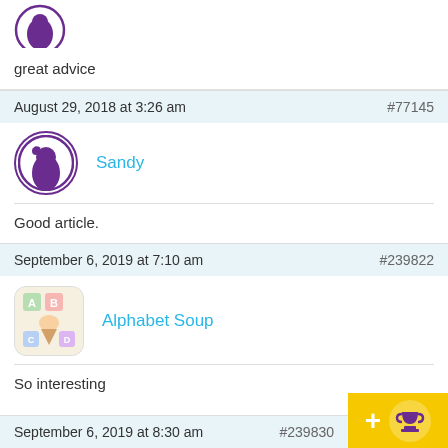[Figure (illustration): Partial avatar circle with purple outline at top of page]
great advice
August 29, 2018 at 3:26 am   #77145
[Figure (illustration): Sandy user avatar - circular with purple silhouette on white background, purple border]
Sandy
Good article.
September 6, 2019 at 7:10 am   #239822
[Figure (illustration): Alphabet Soup avatar - square rounded image with illustrated alphabet block toys]
Alphabet Soup
So interesting
September 6, 2019 at 8:30 am   #239830